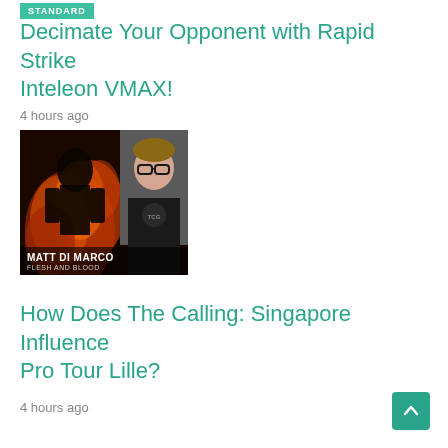STANDARD
Decimate Your Opponent with Rapid Strike Inteleon VMAX!
4 hours ago
[Figure (photo): Article thumbnail showing a dark fantasy card game artwork on the left and a photo of a person with glasses on the right. Text overlay reads MATT DI MARCO and FLESH AND BLOOD.]
How Does The Calling: Singapore Influence Pro Tour Lille?
4 hours ago